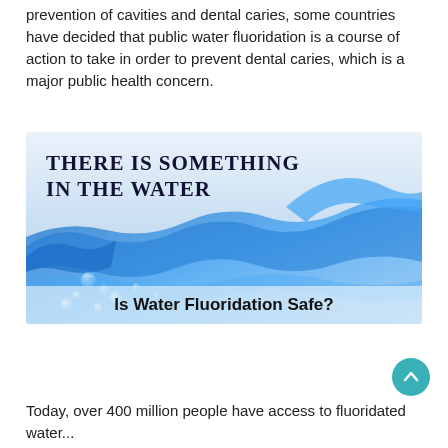prevention of cavities and dental caries, some countries have decided that public water fluoridation is a course of action to take in order to prevent dental caries, which is a major public health concern.
[Figure (infographic): Infographic with heading 'THERE IS SOMETHING IN THE WATER' over a water splash image, with subtitle 'Is Water Fluoridation Safe?']
Today, over 400 million people have access to fluoridated water...